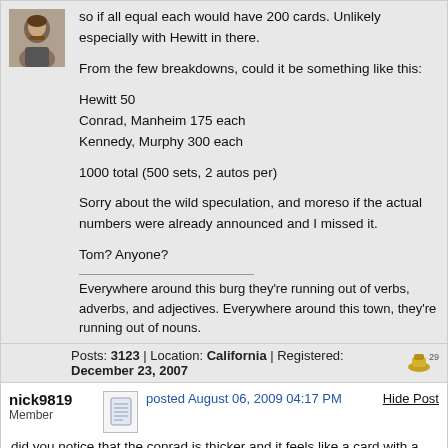so if all equal each would have 200 cards. Unlikely especially with Hewitt in there.

From the few breakdowns, could it be something like this:

Hewitt 50
Conrad, Manheim 175 each
Kennedy, Murphy 300 each

1000 total (500 sets, 2 autos per)

Sorry about the wild speculation, and moreso if the actual numbers were already announced and I missed it.

Tom? Anyone?
Everywhere around this burg they're running out of verbs, adverbs, and adjectives. Everywhere around this town, they're running out of nouns.
Posts: 3123 | Location: California | Registered: December 23, 2007
nick9819
Member
posted August 06, 2009 04:17 PM
Hide Post
did you notice that the conrad is thicker and it feels like a card with a auto cut out was glued to the card that has the auto sticker